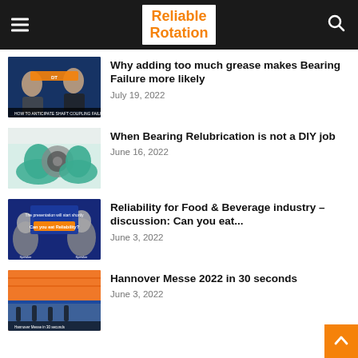Reliable Rotation
Why adding too much grease makes Bearing Failure more likely — July 19, 2022
When Bearing Relubrication is not a DIY job — June 16, 2022
Reliability for Food & Beverage industry – discussion: Can you eat... — June 3, 2022
Hannover Messe 2022 in 30 seconds — June 3, 2022